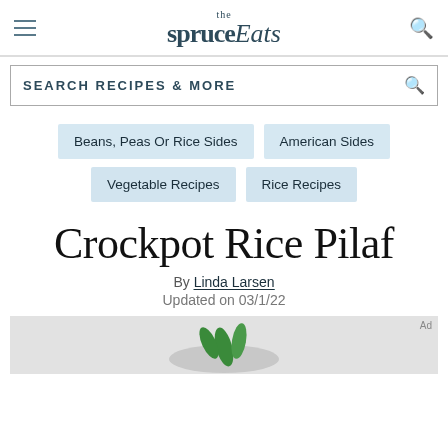the spruce Eats
SEARCH RECIPES & MORE
Beans, Peas Or Rice Sides
American Sides
Vegetable Recipes
Rice Recipes
Crockpot Rice Pilaf
By Linda Larsen
Updated on 03/1/22
[Figure (photo): Partial image of a dish, likely the crockpot rice pilaf, with a green herb garnish visible]